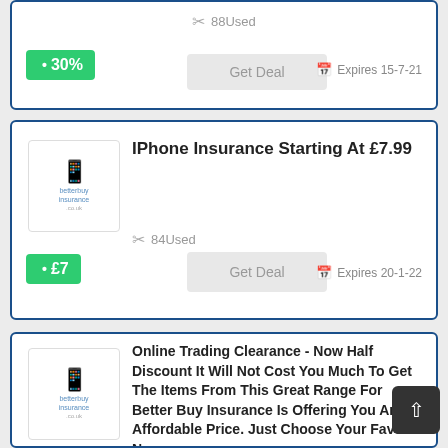88 Used
30%
Get Deal
Expires 15-7-21
IPhone Insurance Starting At £7.99
84 Used
£7
Get Deal
Expires 20-1-22
Online Trading Clearance - Now Half Discount It Will Not Cost You Much To Get The Items From This Great Range For Better Buy Insurance Is Offering You An Affordable Price. Just Choose Your Favorite Now